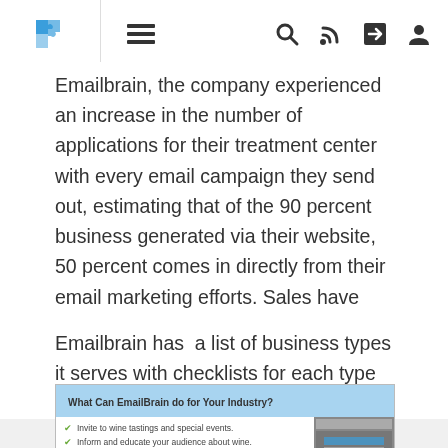Navigation bar with puzzle logo, hamburger menu, search, RSS, share, and user icons
Emailbrain, the company experienced an increase in the number of applications for their treatment center with every email campaign they send out, estimating that of the 90 percent business generated via their website, 50 percent comes in directly from their email marketing efforts. Sales have risen, and the company notices that their global presence becomes more recognized."
Emailbrain has  a list of business types it serves with checklists for each type of business.
[Figure (screenshot): Screenshot of EmailBrain website section titled 'What Can EmailBrain do for Your Industry?' with checklist items: 'Invite to wine tastings and special events.' and 'Inform and educate your audience about wine.' with a thumbnail image on the right.]